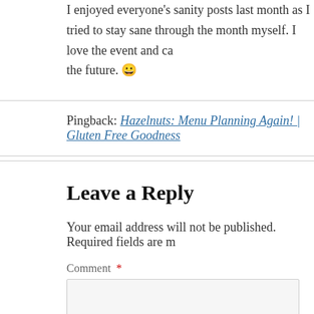I enjoyed everyone's sanity posts last month as I tried to stay sane through the month myself. I love the event and can't wait for the future. 😀
Pingback: Hazelnuts: Menu Planning Again! | Gluten Free Goodness
Leave a Reply
Your email address will not be published. Required fields are marked *
Comment *